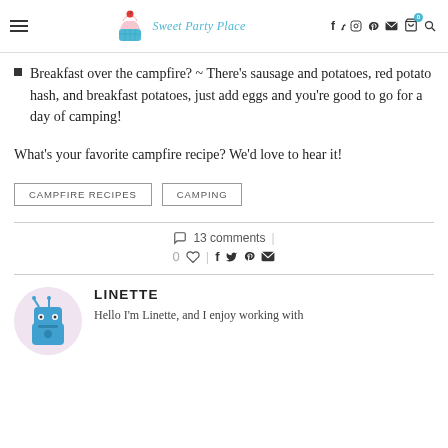Sweet Party Place — navigation header with social icons
Breakfast over the campfire? ~ There's sausage and potatoes, red potato hash, and breakfast potatoes, just add eggs and you're good to go for a day of camping!
What's your favorite campfire recipe? We'd love to hear it!
CAMPFIRE RECIPES   CAMPING
13 comments   0 ♡   social share icons
LINETTE
Hello I'm Linette, and I enjoy working with